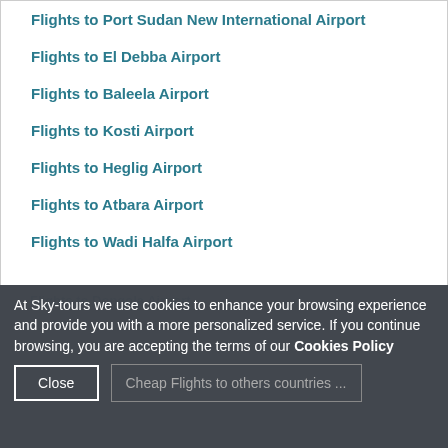Flights to Port Sudan New International Airport
Flights to El Debba Airport
Flights to Baleela Airport
Flights to Kosti Airport
Flights to Heglig Airport
Flights to Atbara Airport
Flights to Wadi Halfa Airport
Flights to Dongola Airport
At Sky-tours we use cookies to enhance your browsing experience and provide you with a more personalized service. If you continue browsing, you are accepting the terms of our Cookies Policy
Close
Cheap Flights to others countries ...